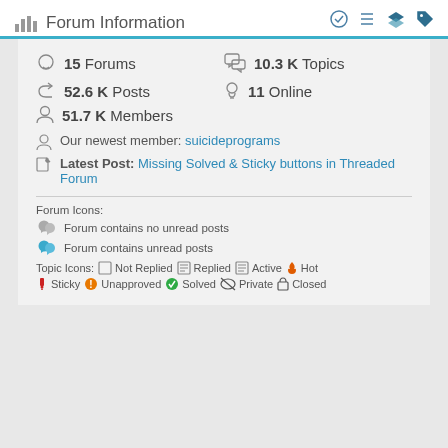Forum Information
15 Forums
10.3 K Topics
52.6 K Posts
11 Online
51.7 K Members
Our newest member: suicideprograms
Latest Post: Missing Solved & Sticky buttons in Threaded Forum
Forum Icons:
Forum contains no unread posts
Forum contains unread posts
Topic Icons: Not Replied Replied Active Hot Sticky Unapproved Solved Private Closed